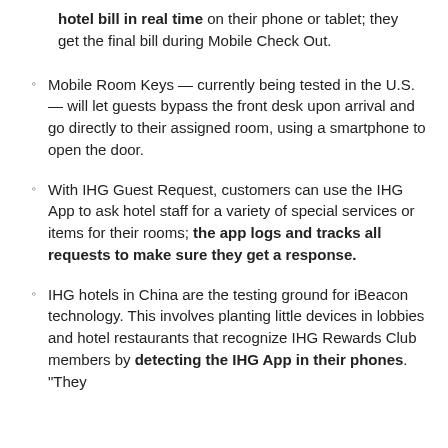hotel bill in real time on their phone or tablet; they get the final bill during Mobile Check Out.
Mobile Room Keys — currently being tested in the U.S. — will let guests bypass the front desk upon arrival and go directly to their assigned room, using a smartphone to open the door.
With IHG Guest Request, customers can use the IHG App to ask hotel staff for a variety of special services or items for their rooms; the app logs and tracks all requests to make sure they get a response.
IHG hotels in China are the testing ground for iBeacon technology. This involves planting little devices in lobbies and hotel restaurants that recognize IHG Rewards Club members by detecting the IHG App in their phones. "They